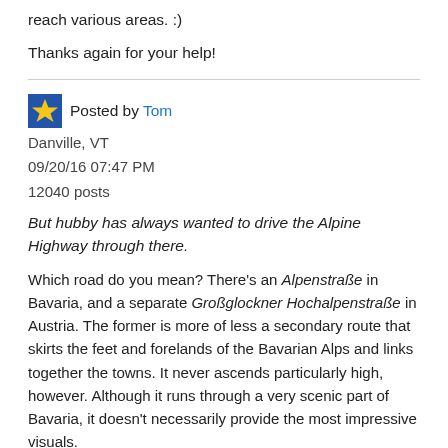reach various areas. :)
Thanks again for your help!
Posted by Tom
Danville, VT
09/20/16 07:47 PM
12040 posts
But hubby has always wanted to drive the Alpine Highway through there.
Which road do you mean? There's an Alpenstraße in Bavaria, and a separate Großglockner Hochalpenstraße in Austria. The former is more of less a secondary route that skirts the feet and forelands of the Bavarian Alps and links together the towns. It never ascends particularly high, however. Although it runs through a very scenic part of Bavaria, it doesn't necessarily provide the most impressive visuals.